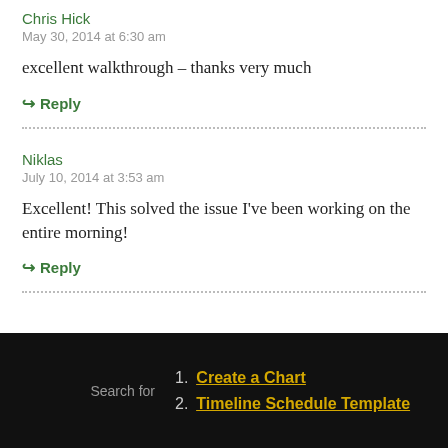Chris Hick
May 30, 2014 at 6:30 am
excellent walkthrough – thanks very much
↳ Reply
Niklas
July 10, 2014 at 3:53 am
Excellent! This solved the issue I've been working on the entire morning!
↳ Reply
1. Create a Chart
2. Timeline Schedule Template
Search for